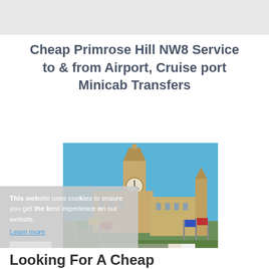Cheap Primrose Hill NW8 Service to & from Airport, Cruise port Minicab Transfers
[Figure (photo): Photo of Big Ben and the Houses of Parliament in London with international flags in the foreground against a clear blue sky]
This website uses cookies to ensure you get the best experience on our website. Learn more
Looking For A Cheap